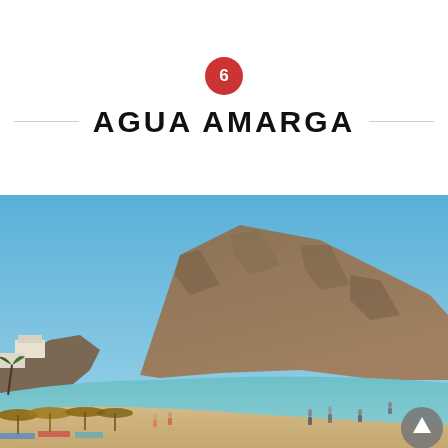6 AGUA AMARGA
[Figure (photo): Beach scene at Agua Amarga with a large rocky hill/cliff in the background under a clear blue sky, sandy beach in foreground with beach umbrellas and people, calm turquoise water in the bay.]